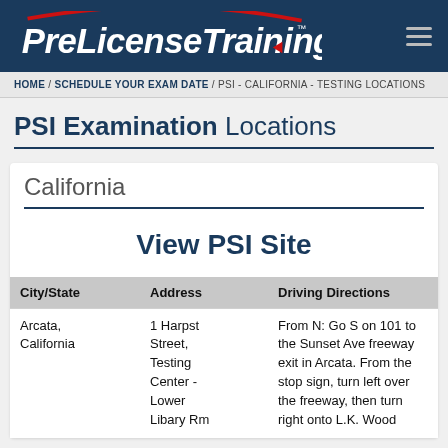PreLicenseTraining.com
HOME / SCHEDULE YOUR EXAM DATE / PSI - CALIFORNIA - TESTING LOCATIONS
PSI Examination Locations
California
View PSI Site
| City/State | Address | Driving Directions |
| --- | --- | --- |
| Arcata, California | 1 Harpst Street, Testing Center - Lower Libary Rm | From N: Go S on 101 to the Sunset Ave freeway exit in Arcata. From the stop sign, turn left over the freeway, then turn right onto L.K. Wood |